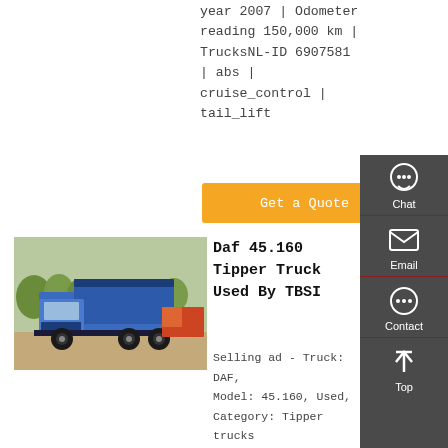year 2007 | Odometer reading 150,000 km | TrucksNL-ID 6907581 | abs | cruise_control | tail_lift
[Figure (other): Orange 'Get a Quote' button]
[Figure (photo): Photo of a blue Daf tipper/dump truck (8x4 configuration) parked outdoors with other trucks visible in background]
Daf 45.160 Tipper Truck Used By TBSI
Selling ad - Truck: DAF, Model: 45.160, Used, Category: Tipper trucks, Sell by: CZECH M.A.T. in